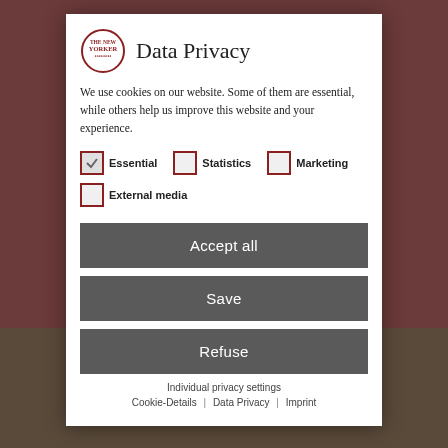Data Privacy
We use cookies on our website. Some of them are essential, while others help us improve this website and your experience.
Essential (checked)
Statistics
Marketing
External media
Accept all
Save
Refuse
Individual privacy settings
Cookie-Details | Data Privacy | Imprint